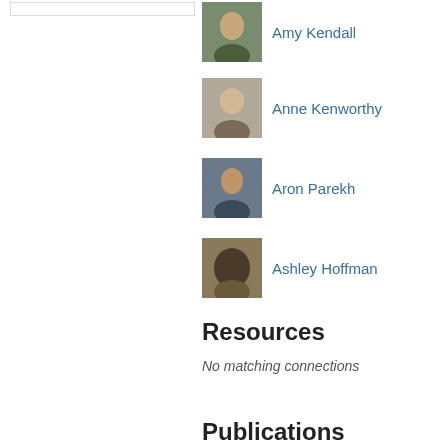[Figure (screenshot): Search box outline at top left]
Amy Kendall
Anne Kenworthy
Aron Parekh
Ashley Hoffman
Resources
No matching connections
Publications